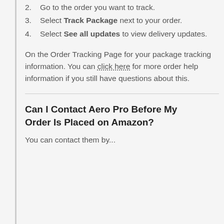2. Go to the order you want to track.
3. Select Track Package next to your order.
4. Select See all updates to view delivery updates.
On the Order Tracking Page for your package tracking information. You can click here for more order help information if you still have questions about this.
Can I Contact Aero Pro Before My Order Is Placed on Amazon?
You can contact them by...